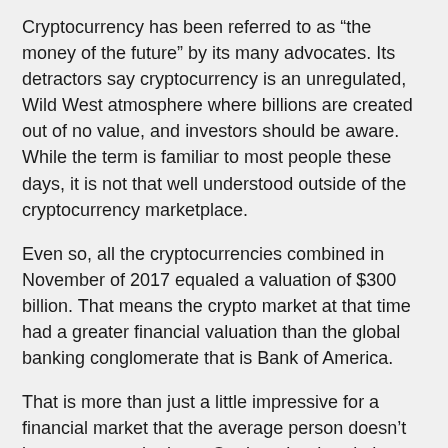Cryptocurrency has been referred to as “the money of the future” by its many advocates. Its detractors say cryptocurrency is an unregulated, Wild West atmosphere where billions are created out of no value, and investors should be aware. While the term is familiar to most people these days, it is not that well understood outside of the cryptocurrency marketplace.
Even so, all the cryptocurrencies combined in November of 2017 equaled a valuation of $300 billion. That means the crypto market at that time had a greater financial valuation than the global banking conglomerate that is Bank of America.
That is more than just a little impressive for a financial market that the average person doesn’t know very much about. On the other hand, the term IPO is more commonplace. That stands for an initial public offering, which is a way a company can raise money by offering investors stock shares in that company. This initial offering bases the value